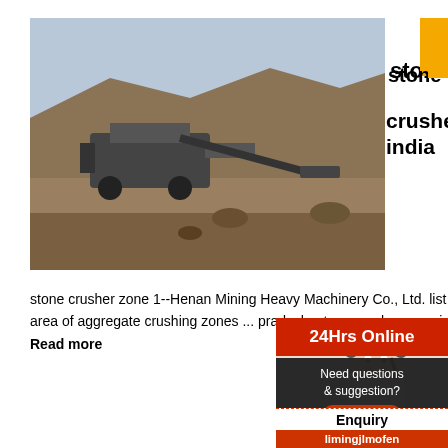[Figure (photo): Stone crusher machinery at a quarry/mining site with rocky terrain and equipment]
Read More
stone crusher zone in mp in india
stone crusher zone 1--Henan Mining Heavy Machinery Co., Ltd. list of stone cru... customer case area of aggregate crushing zones ... pradesh. stone crusher zone in mp in india . crush... madhya . Read more
[Figure (photo): Large tracked mobile stone crusher machine]
Re...
Comprehensive Industry Document S... Crushers
Comprehensive Industry Document on Stone Cru...
[Figure (photo): Customer service agent/woman with headset smiling - 24Hrs Online support]
24Hrs Online
Need questions & suggestion?
Chat Now
Enquiry
limingjlmofen